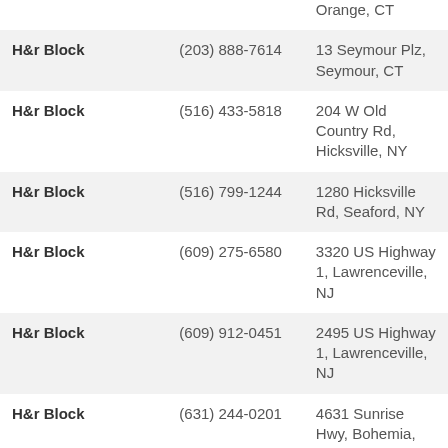| Name | Phone | Address |
| --- | --- | --- |
| H&r Block |  | Orange, CT |
| H&r Block | (203) 888-7614 | 13 Seymour Plz, Seymour, CT |
| H&r Block | (516) 433-5818 | 204 W Old Country Rd, Hicksville, NY |
| H&r Block | (516) 799-1244 | 1280 Hicksville Rd, Seaford, NY |
| H&r Block | (609) 275-6580 | 3320 US Highway 1, Lawrenceville, NJ |
| H&r Block | (609) 912-0451 | 2495 US Highway 1, Lawrenceville, NJ |
| H&r Block | (631) 244-0201 | 4631 Sunrise Hwy, Bohemia, NY |
| H&r Block | (631) 281-4116 | 800 Montauk Hwy, Shirley, NY |
| H&r Block | (631) 467-7546 | 137 Ronkonkoma Ave # A, Ronkonkoma, NY |
| H&r Block | (631) 665-2600 | 1701 Sunrise Hwy # D10c, Bay Shore, |